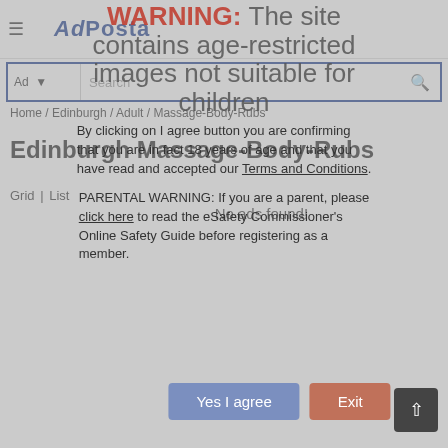AdPosta
Ad | Search
Home / Edinburgh / Adult / Massage-Body-Rubs
Edinburgh Massage-Body-Rubs
Grid | List
No ads found!
[Figure (screenshot): Age verification warning overlay with 'WARNING: The site contains age-restricted images not suitable for children' in red/gray text, body text asking user to confirm they are 18+, parental warning with eSafety Commissioner link, and two buttons: 'Yes I agree' (blue-gray) and 'Exit' (red-orange)]